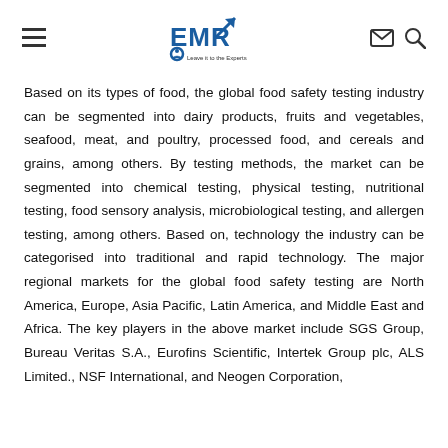EMR - Leave it to the Experts (logo with navigation icons)
Based on its types of food, the global food safety testing industry can be segmented into dairy products, fruits and vegetables, seafood, meat, and poultry, processed food, and cereals and grains, among others. By testing methods, the market can be segmented into chemical testing, physical testing, nutritional testing, food sensory analysis, microbiological testing, and allergen testing, among others. Based on, technology the industry can be categorised into traditional and rapid technology. The major regional markets for the global food safety testing are North America, Europe, Asia Pacific, Latin America, and Middle East and Africa. The key players in the above market include SGS Group, Bureau Veritas S.A., Eurofins Scientific, Intertek Group plc, ALS Limited., NSF International, and Neogen Corporation,